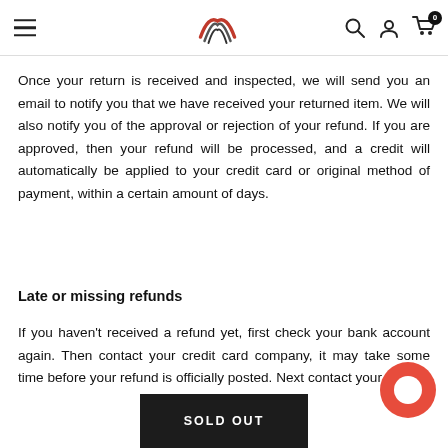Navigation header with hamburger menu, logo, search, account, and cart icons
Once your return is received and inspected, we will send you an email to notify you that we have received your returned item. We will also notify you of the approval or rejection of your refund. If you are approved, then your refund will be processed, and a credit will automatically be applied to your credit card or original method of payment, within a certain amount of days.
Late or missing refunds
If you haven't received a refund yet, first check your bank account again. Then contact your credit card company, it may take some time before your refund is officially posted. Next contact your